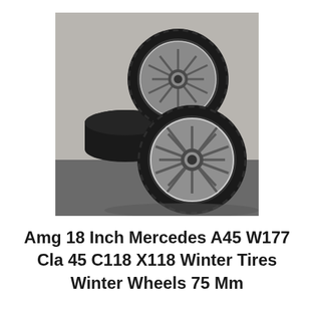[Figure (photo): Four Mercedes AMG 18-inch alloy wheels with winter tires stacked/arranged together against a gray concrete background. Two wheels shown prominently, two stacked behind.]
Amg 18 Inch Mercedes A45 W177 Cla 45 C118 X118 Winter Tires Winter Wheels 75 Mm